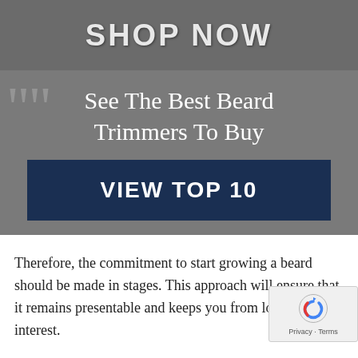[Figure (screenshot): Shop Now banner with grey textured background and large bold text reading SHOP NOW]
See The Best Beard Trimmers To Buy
VIEW TOP 10
Therefore, the commitment to start growing a beard should be made in stages. This approach will ensure that it remains presentable and keeps you from losing interest.